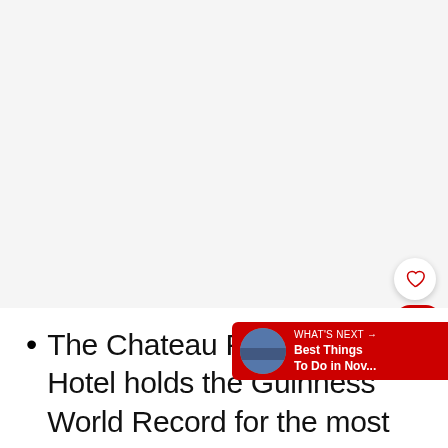[Figure (photo): Large image area at top of page, appears mostly white/blank (image not loaded or cropped)]
[Figure (infographic): Heart (like/save) button — white circle with red heart outline icon]
[Figure (infographic): Share bubble UI element — red pill showing count 645 and share icon with plus]
[Figure (infographic): What's Next bar — red banner showing thumbnail image and text: WHAT'S NEXT → Best Things To Do in Nov...]
The Chateau Frontenac Hotel holds the Guinness World Record for the most